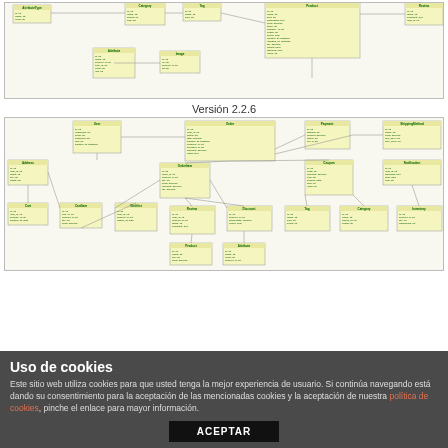[Figure (engineering-diagram): UML class diagram (partial, top portion cut off) showing database/entity relationship diagram with yellow nodes connected by lines, version unknown]
Versión 2.2.6
[Figure (engineering-diagram): UML class diagram for version 2.2.6 showing multiple yellow entity/class boxes connected by relationship lines, representing a database schema or software architecture]
Uso de cookies
Este sitio web utiliza cookies para que usted tenga la mejor experiencia de usuario. Si continúa navegando está dando su consentimiento para la aceptación de las mencionadas cookies y la aceptación de nuestra política de cookies, pinche el enlace para mayor información.
ACEPTAR